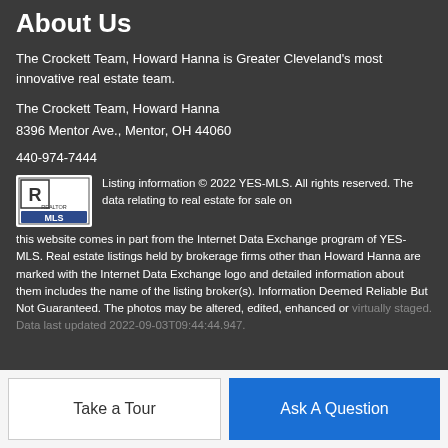About Us
The Crockett Team, Howard Hanna is Greater Cleveland's most innovative real estate team.
The Crockett Team, Howard Hanna
8396 Mentor Ave., Mentor, OH 44060
440-974-7444
Listing information © 2022 YES-MLS. All rights reserved. The data relating to real estate for sale on this website comes in part from the Internet Data Exchange program of YES-MLS. Real estate listings held by brokerage firms other than Howard Hanna are marked with the Internet Data Exchange logo and detailed information about them includes the name of the listing broker(s). Information Deemed Reliable But Not Guaranteed. The photos may be altered, edited, enhanced or virtually staged. Data last updated 2022-09-03T09:44:44.947.
Take a Tour
Ask A Question